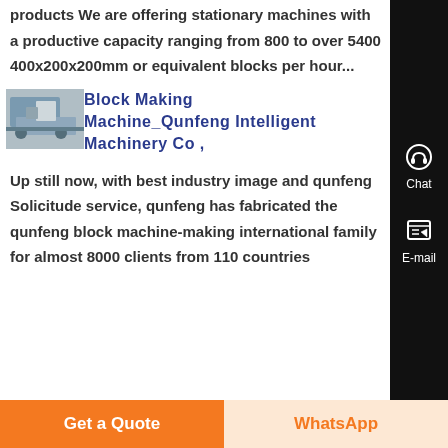products We are offering stationary machines with a productive capacity ranging from 800 to over 5400 400x200x200mm or equivalent blocks per hour...
[Figure (photo): Thumbnail image of a block making machine]
Block Making Machine_Qunfeng Intelligent Machinery Co ,
Up still now, with best industry image and qunfeng Solicitude service, qunfeng has fabricated the qunfeng block machine-making international family for almost 8000 clients from 110 countries